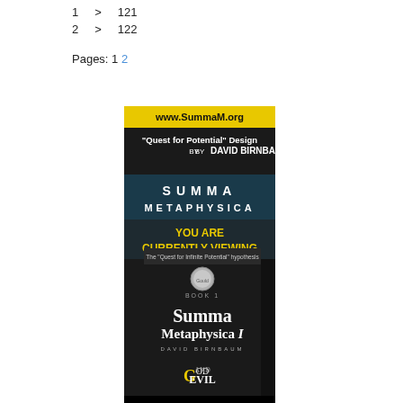| 1 | > | 121 |
| 2 | > | 122 |
Pages: 1 2
[Figure (illustration): Advertisement for Summa Metaphysica book by David Birnbaum. Shows website www.SummaM.org, subtitle 'Quest for Potential' Design by David Birnbaum, SUMMA METAPHYSICA title, YOU ARE CURRENTLY VIEWING text, and book cover image for Summa Metaphysica I God and Evil.]